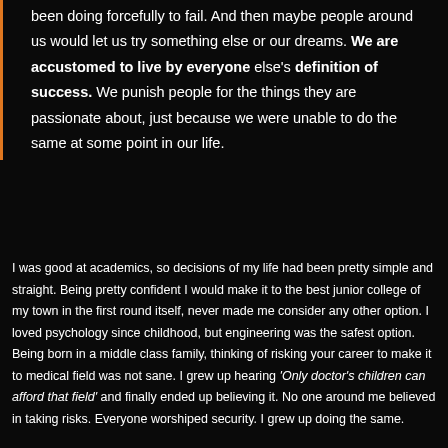been doing forcefully to fail. And then maybe people around us would let us try something else or our dreams. We are accustomed to live by everyone else's definition of success. We punish people for the things they are passionate about, just because we were unable to do the same at some point in our life.
I was good at academics, so decisions of my life had been pretty simple and straight. Being pretty confident I would make it to the best junior college of my town in the first round itself, never made me consider any other option. I loved psychology since childhood, but engineering was the safest option. Being born in a middle class family, thinking of risking your career to make it to medical field was not sane. I grew up hearing 'Only doctor's children can afford that field' and finally ended up believing it. No one around me believed in taking risks. Everyone worshiped security. I grew up doing the same.